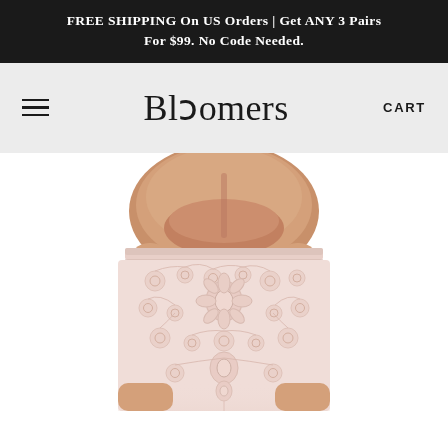FREE SHIPPING On US Orders | Get ANY 3 Pairs For $99. No Code Needed.
[Figure (logo): Bloomers brand logo with navigation bar including hamburger menu on left and CART text on right, on light gray background]
[Figure (photo): Close-up back view of a person wearing white/blush lace high-waist underwear/bloomers with floral lace pattern, shown from waist to upper thigh on white background]